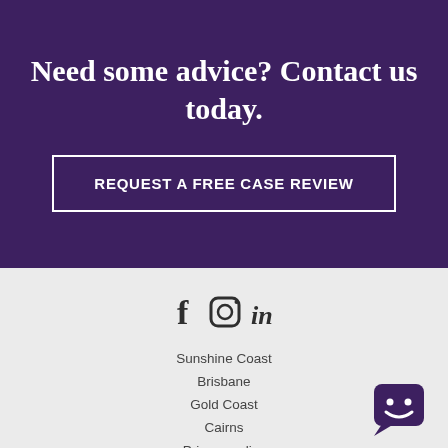Need some advice? Contact us today.
REQUEST A FREE CASE REVIEW
[Figure (illustration): Social media icons: Facebook (f), Instagram (circle with square), LinkedIn (in)]
Sunshine Coast
Brisbane
Gold Coast
Cairns
Privacy policy
Terms and conditions
[Figure (illustration): Purple chat bot widget icon with smiley face in bottom right corner]